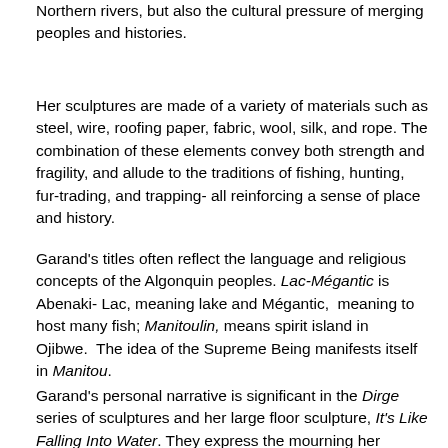Northern rivers, but also the cultural pressure of merging peoples and histories.
Her sculptures are made of a variety of materials such as steel, wire, roofing paper, fabric, wool, silk, and rope. The combination of these elements convey both strength and fragility, and allude to the traditions of fishing, hunting, fur-trading, and trapping- all reinforcing a sense of place and history.
Garand's titles often reflect the language and religious concepts of the Algonquin peoples. Lac-Mégantic is Abenaki- Lac, meaning lake and Mégantic, meaning to host many fish; Manitoulin, means spirit island in Ojibwe. The idea of the Supreme Being manifests itself in Manitou.
Garand's personal narrative is significant in the Dirge series of sculptures and her large floor sculpture, It's Like Falling Into Water. They express the mourning her parents'